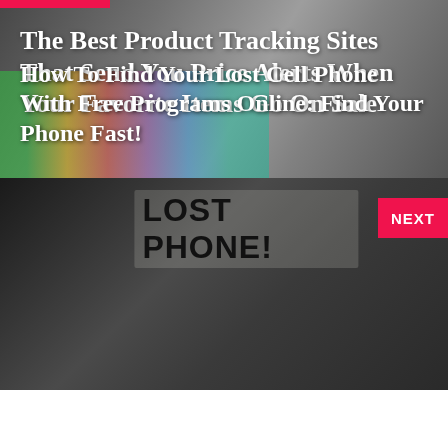[Figure (photo): Top panel: smiling woman with colorful shopping bags, dark overlay, pink accent bar at top left]
The Best Product Tracking Sites That Send You Price Alerts When Your Favorite Items Go On Sale
[Figure (photo): Bottom panel: dark photo of a lost phone sign with handwritten notes, NEXT button in pink at top right]
How To Find Your Lost Cell Phone With Free Programs Online: Find Your Phone Fast!